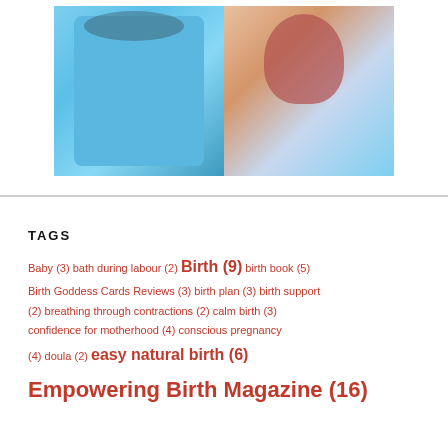[Figure (photo): Two side-by-side images: left shows a woman in a teal/turquoise dress with black decorative print, right shows an illustrated/painted woman with red hair in a blue dress, both appearing pregnancy-related]
TAGS
Baby (3) bath during labour (2) Birth (9) birth book (5) Birth Goddess Cards Reviews (3) birth plan (3) birth support (2) breathing through contractions (2) calm birth (3) confidence for motherhood (4) conscious pregnancy (4) doula (2) easy natural birth (6) Empowering Birth Magazine (16)